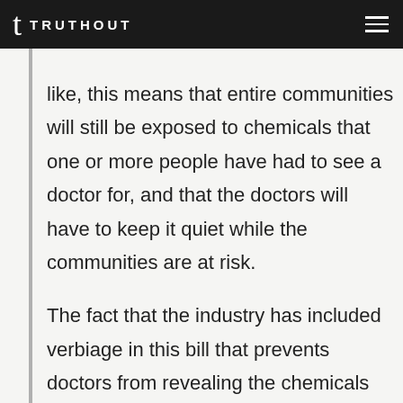TRUTHOUT
like, this means that entire communities will still be exposed to chemicals that one or more people have had to see a doctor for, and that the doctors will have to keep it quiet while the communities are at risk.

The fact that the industry has included verbiage in this bill that prevents doctors from revealing the chemicals their patients were exposed to: